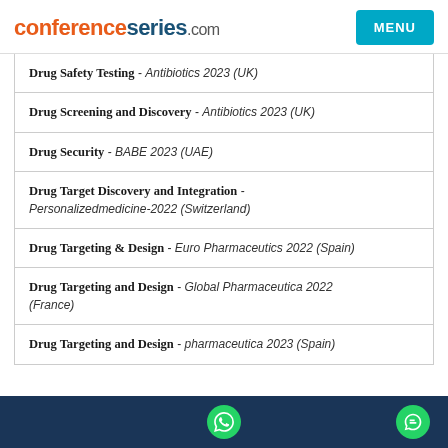conferenceseries.com | MENU
Drug Safety Testing - Antibiotics 2023 (UK)
Drug Screening and Discovery - Antibiotics 2023 (UK)
Drug Security - BABE 2023 (UAE)
Drug Target Discovery and Integration - Personalizedmedicine-2022 (Switzerland)
Drug Targeting & Design - Euro Pharmaceutics 2022 (Spain)
Drug Targeting and Design - Global Pharmaceutica 2022 (France)
Drug Targeting and Design - pharmaceutica 2023 (Spain)